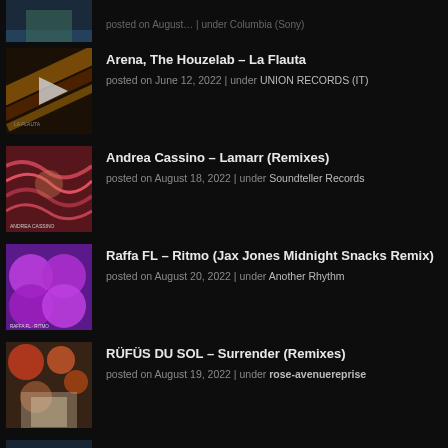[Figure (photo): Album artwork thumbnail - island/aerial view, partial (clipped at top)]
posted on August... | under Columbia (Sony)
[Figure (photo): Album artwork for La Flauta - orange/gold diagonal lines with play button overlay]
Arena, The Houzelab – La Flauta
posted on June 12, 2022 | under UNION RECORDS (IT)
[Figure (photo): Album artwork for Lamarr Remixes - red/pink wavy abstract pattern]
Andrea Cassino – Lamarr (Remixes)
posted on August 18, 2022 | under Soundteller Records
[Figure (photo): Album artwork for Ritmo - purple background with large purple/magenta circles]
Raffa FL – Ritmo (Jax Jones Midnight Snacks Remix)
posted on August 20, 2022 | under Another Rhythm
[Figure (photo): Album artwork for Surrender Remixes - floral/colorful photo]
RÜFÜS DU SOL – Surrender (Remixes)
posted on August 19, 2022 | under rose-avenuereprise
[Figure (photo): Album artwork for Clock Ticker - dark moody landscape]
Brandon – Clock Ticker